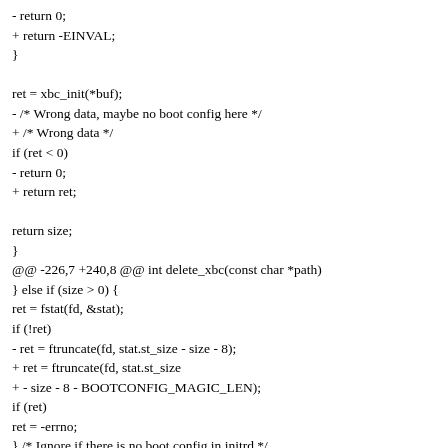- return 0;
+ return -EINVAL;
}

ret = xbc_init(*buf);
- /* Wrong data, maybe no boot config here */
+ /* Wrong data */
if (ret < 0)
- return 0;
+ return ret;

return size;
}
@@ -226,7 +240,8 @@ int delete_xbc(const char *path)
} else if (size > 0) {
ret = fstat(fd, &stat);
if (!ret)
- ret = ftruncate(fd, stat.st_size - size - 8);
+ ret = ftruncate(fd, stat.st_size
+ - size - 8 - BOOTCONFIG_MAGIC_LEN);
if (ret)
ret = -errno;
} /* Ignore if there is no boot config in initrd */
@@ -295,6 +310,12 @@ int apply_xbc(const char *path, const char *xbc_path)